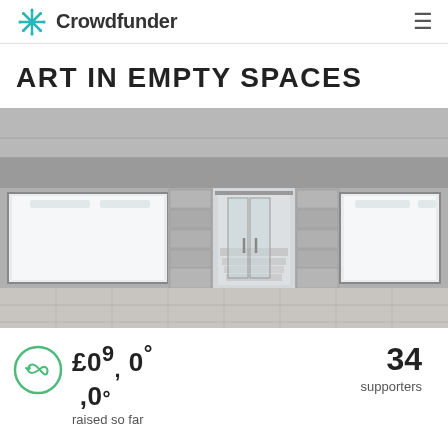Crowdfunder
ART IN EMPTY SPACES
[Figure (photo): Empty storefront with glass windows and double glass doors, concrete facade, interior lit with white light, viewed from outside on a tiled sidewalk]
£090 raised so far
34 supporters